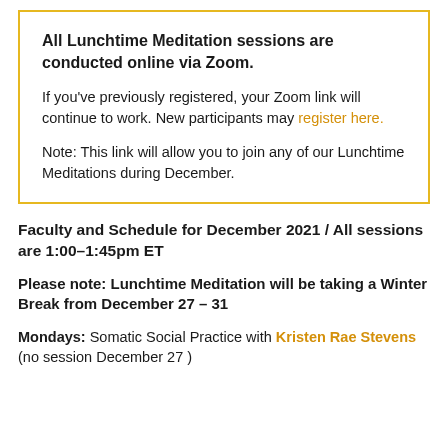All Lunchtime Meditation sessions are conducted online via Zoom.

If you've previously registered, your Zoom link will continue to work. New participants may register here.

Note: This link will allow you to join any of our Lunchtime Meditations during December.
Faculty and Schedule for December 2021 / All sessions are 1:00–1:45pm ET
Please note: Lunchtime Meditation will be taking a Winter Break from December 27 – 31
Mondays: Somatic Social Practice with Kristen Rae Stevens (no session December 27 )